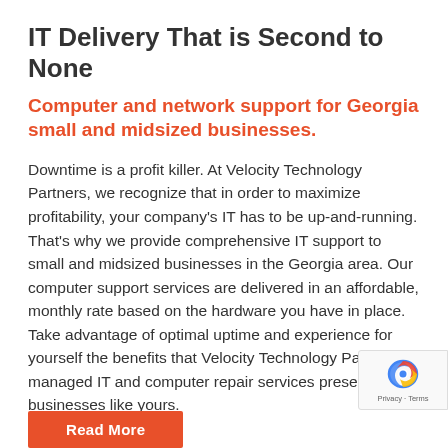IT Delivery That is Second to None
Computer and network support for Georgia small and midsized businesses.
Downtime is a profit killer. At Velocity Technology Partners, we recognize that in order to maximize profitability, your company’s IT has to be up-and-running. That’s why we provide comprehensive IT support to small and midsized businesses in the Georgia area. Our computer support services are delivered in an affordable, monthly rate based on the hardware you have in place. Take advantage of optimal uptime and experience for yourself the benefits that Velocity Technology Partners’s managed IT and computer repair services present businesses like yours.